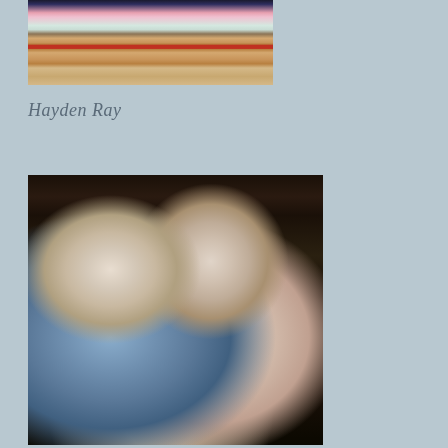[Figure (photo): Close-up photo of a baby in a colorful outfit with a car seat buckle/clip visible, sitting against a dark background]
Hayden Ray
[Figure (photo): Two newborn babies lying together on a dark surface — one in a blue striped outfit and one in a pink outfit with a pacifier]